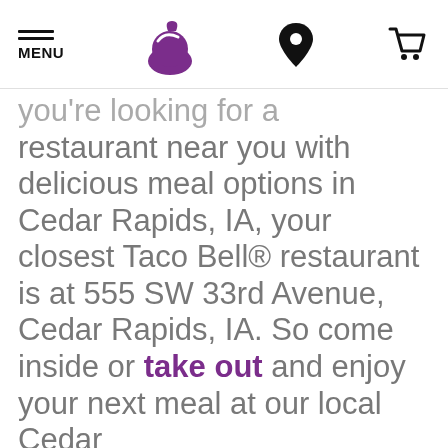MENU | [Taco Bell logo] | [Location icon] | [Cart icon]
you're looking for a restaurant near you with delicious meal options in Cedar Rapids, IA, your closest Taco Bell® restaurant is at 555 SW 33rd Avenue, Cedar Rapids, IA. So come inside or take out and enjoy your next meal at our local Cedar